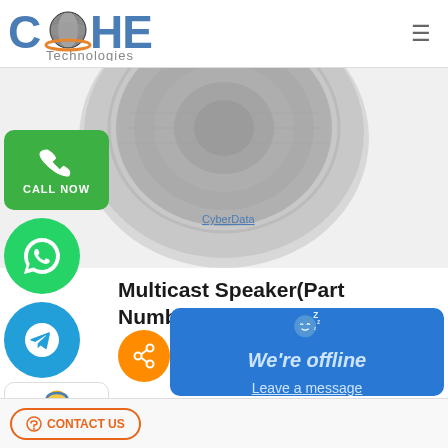[Figure (logo): Cohesive Technologies logo with globe icon]
[Figure (photo): CyberData ceiling-mount multicast speaker, round white device photographed from below]
[Figure (illustration): Call Now button (green rounded rectangle with phone icon)]
[Figure (illustration): WhatsApp icon (green circle with phone handset)]
[Figure (illustration): Telegram icon (blue circle with paper plane)]
[Figure (illustration): Support icon (rounded rectangle with headset avatar)]
Multicast Speaker(Part Number:011458)
[Figure (illustration): Offline chat widget popup (blue panel with sleeping emoji, 'We're offline' text, and 'Leave a message' link)]
CONTACT US